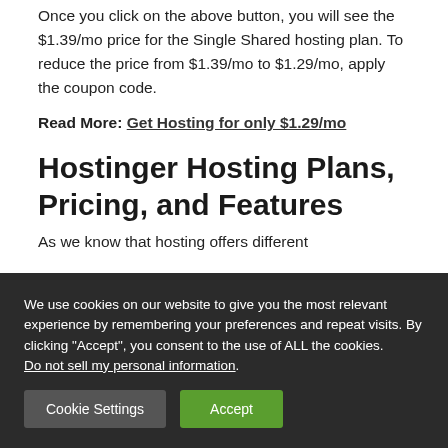Once you click on the above button, you will see the $1.39/mo price for the Single Shared hosting plan. To reduce the price from $1.39/mo to $1.29/mo, apply the coupon code.
Read More: Get Hosting for only $1.29/mo
Hostinger Hosting Plans, Pricing, and Features
As we know that hosting offers different...
We use cookies on our website to give you the most relevant experience by remembering your preferences and repeat visits. By clicking “Accept”, you consent to the use of ALL the cookies. Do not sell my personal information.